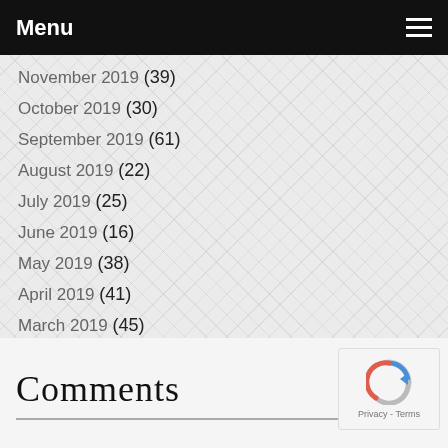Menu
November 2019 (39)
October 2019 (30)
September 2019 (61)
August 2019 (22)
July 2019 (25)
June 2019 (16)
May 2019 (38)
April 2019 (41)
March 2019 (45)
February 2019 (17)
January 2019 (19)
Comments
[Figure (logo): reCAPTCHA logo with Privacy - Terms text]